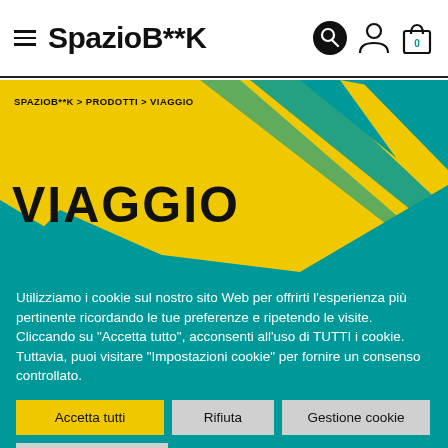SpazioB**K
SPAZIOB**K > PRODOTTI > VIAGGIO
VIAGGIO
Utilizziamo i cookie sul nostro sito Web per offrirti l'esperienza più pertinente ricordando le tue preferenze e ripetendo le visite. Cliccando su "Accetta tutto", acconsenti all'uso di TUTTI i cookie. Tuttavia, puoi visitare "Impostazioni cookie" per fornire un consenso controllato.